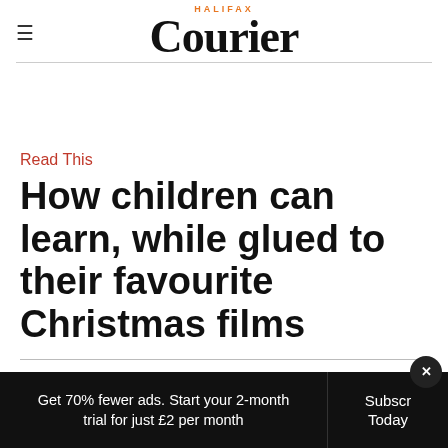HALIFAX Courier
Read This
How children can learn, while glued to their favourite Christmas films
By Sally Burton
Get 70% fewer ads. Start your 2-month trial for just £2 per month
Subscribe Today